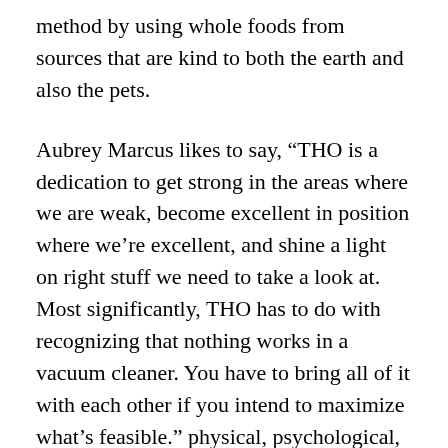method by using whole foods from sources that are kind to both the earth and also the pets.
Aubrey Marcus likes to say, “THO is a dedication to get strong in the areas where we are weak, become excellent in position where we’re excellent, and shine a light on right stuff we need to take a look at. Most significantly, THO has to do with recognizing that nothing works in a vacuum cleaner. You have to bring all of it with each other if you intend to maximize what’s feasible.” physical, psychological, and spiritual health are all at the core of Onnits holistic ideology and empowering individuals to attain their capacity through understanding and devices is crucial to their goal. Anyone can start making improvements in their life in the direction of